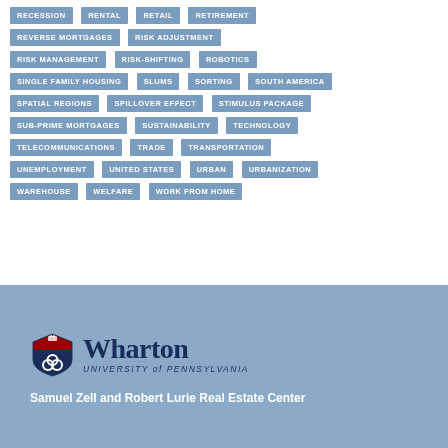RECESSION
RENTAL
RETAIL
RETIREMENT
REVERSE MORTGAGES
RISK ADJUSTMENT
RISK MANAGEMENT
RISK-SHIFTING
ROBOTICS
SINGLE FAMILY HOUSING
SLUMS
SORTING
SOUTH AMERICA
SPATIAL REGIONS
SPILLOVER EFFECT
STIMULUS PACKAGE
SUB-PRIME MORTGAGES
SUSTAINABILITY
TECHNOLOGY
TELECOMMUNICATIONS
TRADE
TRANSPORTATION
UNEMPLOYMENT
UNITED STATES
URBAN
URBANIZATION
WAREHOUSE
WELFARE
WORK FROM HOME
[Figure (logo): Wharton University of Pennsylvania shield logo with text]
Samuel Zell and Robert Lurie Real Estate Center